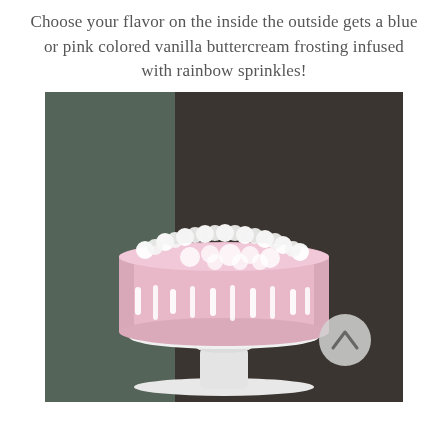Choose your flavor on the inside the outside gets a blue or pink colored vanilla buttercream frosting infused with rainbow sprinkles!
[Figure (photo): A pink frosted layer cake with white drip decoration and white whipped cream toppings, displayed on a tall white cake stand against a dark blurred background. A circular scroll-up button is overlaid in the lower right corner of the image.]